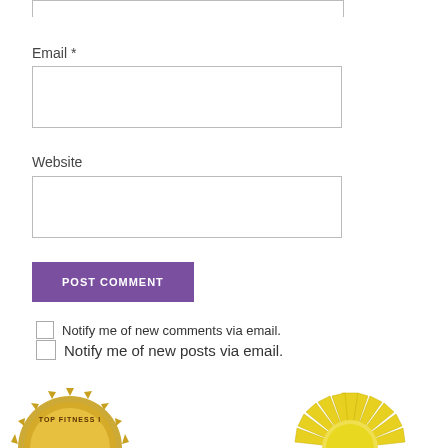Email *
Website
POST COMMENT
Notify me of new comments via email.
Notify me of new posts via email.
[Figure (illustration): Partial view of two badge/seal graphics at bottom of page — a gold circular fitness badge on the left and a yellow sunburst seal on the right]